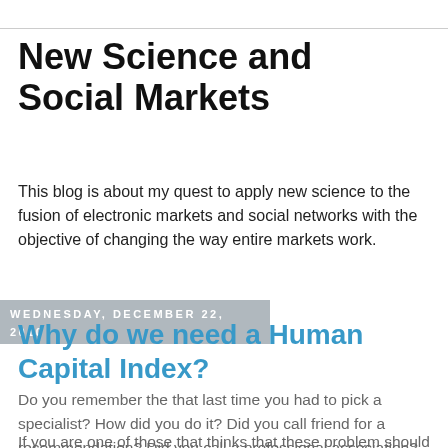New Science and Social Markets
This blog is about my quest to apply new science to the fusion of electronic markets and social networks with the objective of changing the way entire markets work.
Wednesday, December 22, 2010
Why do we need a Human Capital Index?
Do you remember the that last time you had to pick a specialist? How did you do it? Did you call friend for a recommendation? Did you call a professional association? Did you research the web? Did you look on the yellow pages? Did you wish you had more time?
If you are one of those that thinks that these problem should